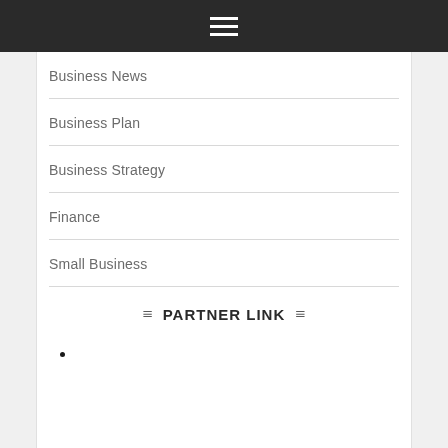≡
Business News
Business Plan
Business Strategy
Finance
Small Business
PARTNER LINK
•